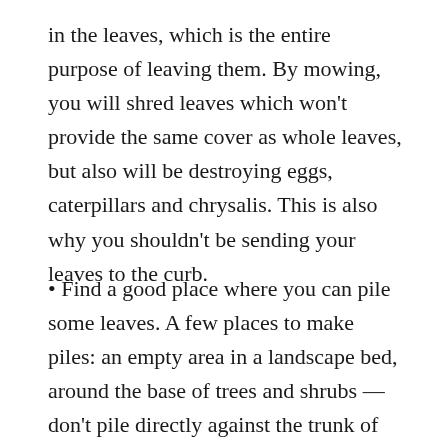in the leaves, which is the entire purpose of leaving them. By mowing, you will shred leaves which won't provide the same cover as whole leaves, but also will be destroying eggs, caterpillars and chrysalis. This is also why you shouldn't be sending your leaves to the curb.
Find a good place where you can pile some leaves. A few places to make piles: an empty area in a landscape bed, around the base of trees and shrubs — don't pile directly against the trunk of the tree and make a thick ring around the tree or shrub, in perennial